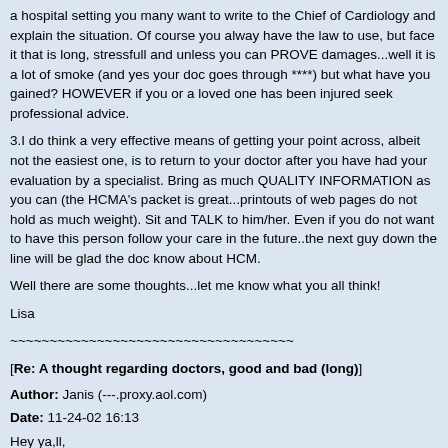a hospital setting you many want to write to the Chief of Cardiology and explain the situation. Of course you alway have the law to use, but face it that is long, stressfull and unless you can PROVE damages...well it is a lot of smoke (and yes your doc goes through ****) but what have you gained? HOWEVER if you or a loved one has been injured seek professional advice.
3.I do think a very effective means of getting your point across, albeit not the easiest one, is to return to your doctor after you have had your evaluation by a specialist. Bring as much QUALITY INFORMATION as you can (the HCMA's packet is great...printouts of web pages do not hold as much weight). Sit and TALK to him/her. Even if you do not want to have this person follow your care in the future..the next guy down the line will be glad the doc know about HCM.
Well there are some thoughts...let me know what you all think!
Lisa
~~~~~~~~~~~~~~~~~~~~~~~~~~~~~~~~~~~~
[Re: A thought regarding doctors, good and bad (long)]
Author: Janis (---.proxy.aol.com)
Date: 11-24-02 16:13
Hey ya,ll,
You know we can catch more bees with honey. I also had a cardiologist who
knew very little about HOCM and as my systems progressed and what I thought was his lack of concern turned out to be lack knowledge. So I point